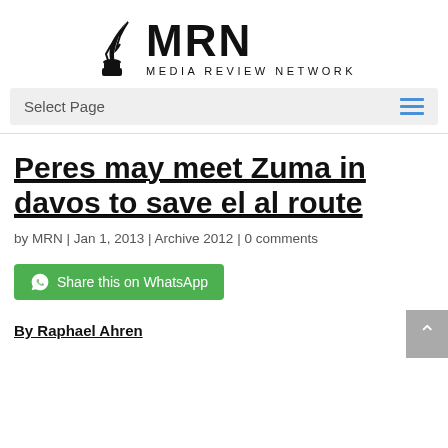[Figure (logo): Media Review Network logo with quill pen and inkwell icon beside bold MRN text and 'MEDIA REVIEW NETWORK' subtitle]
Select Page
Peres may meet Zuma in davos to save el al route
by MRN | Jan 1, 2013 | Archive 2012 | 0 comments
[Figure (other): Share this on WhatsApp green button]
By Raphael Ahren